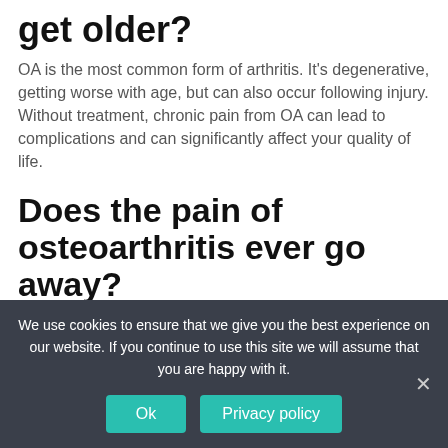get older?
OA is the most common form of arthritis. It's degenerative, getting worse with age, but can also occur following injury. Without treatment, chronic pain from OA can lead to complications and can significantly affect your quality of life.
Does the pain of osteoarthritis ever go away?
Osteoarthritis is a long-term condition and cannot be cured, but it doesn't necessarily get any worse over time and it can sometimes gradually improve. A number of treatments are also available to reduce the symptoms. Mild symptoms can sometimes be managed with simple measures including:
We use cookies to ensure that we give you the best experience on our website. If you continue to use this site we will assume that you are happy with it.